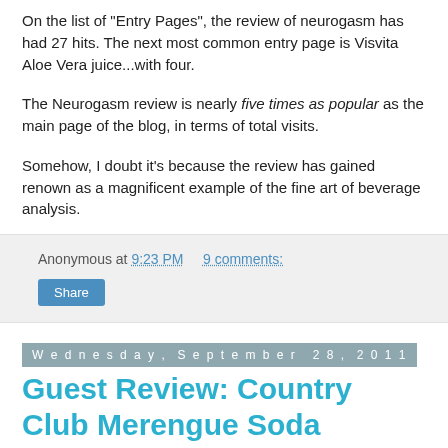On the list of "Entry Pages", the review of neurogasm has had 27 hits. The next most common entry page is Visvita Aloe Vera juice...with four.
The Neurogasm review is nearly five times as popular as the main page of the blog, in terms of total visits.
Somehow, I doubt it's because the review has gained renown as a magnificent example of the fine art of beverage analysis.
Anonymous at 9:23 PM   9 comments:
Share
Wednesday, September 28, 2011
Guest Review: Country Club Merengue Soda
One of our non-hypothetical readers (The Doc, who